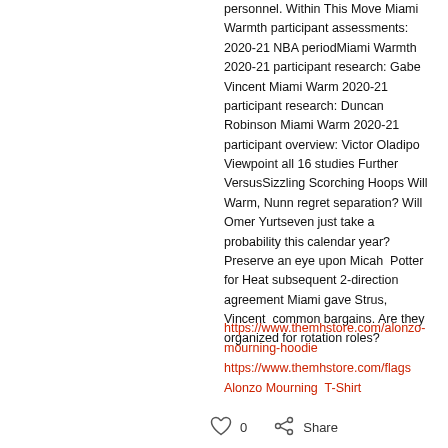personnel. Within This Move Miami Warmth participant assessments:  2020-21 NBA periodMiami Warmth 2020-21 participant research: Gabe Vincent Miami Warm 2020-21 participant research: Duncan Robinson Miami Warm 2020-21 participant overview: Victor Oladipo Viewpoint all 16 studies Further VersusSizzling Scorching Hoops Will Warm, Nunn regret separation? Will Omer Yurtseven just take a probability this calendar year? Preserve an eye upon Micah  Potter for Heat subsequent 2-direction agreement Miami gave Strus, Vincent  common bargains. Are they organized for rotation roles?
https://www.themhstore.com/alonzo-mourning-hoodie
https://www.themhstore.com/flags
Alonzo Mourning  T-Shirt
0   Share